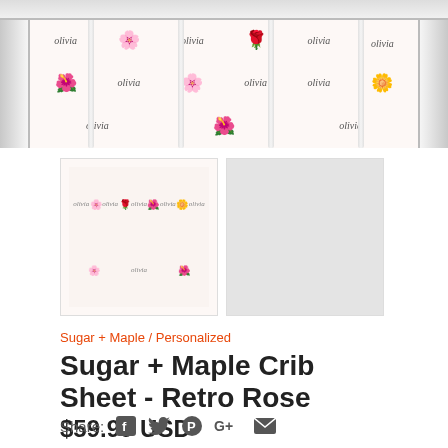[Figure (photo): Hero image of a crib sheet with white crib frame, featuring a floral pattern with roses and the name 'olivia' repeated across the fabric in script font]
[Figure (photo): Thumbnail 1: Small image of the crib sheet fitted on a white crib showing the floral and name pattern]
[Figure (photo): Thumbnail 2: Plain light gray square swatch/alternate view]
Sugar + Maple / Personalized
Sugar + Maple Crib Sheet - Retro Rose
$59.99 USD
or 4 interest-free payments of $15.00 with Sezzle
Share: